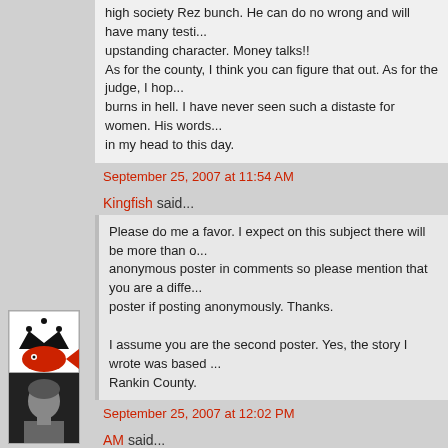high society Rez bunch. He can do no wrong and will have many testi... upstanding character. Money talks!! As for the county, I think you can figure that out. As for the judge, I hop... burns in hell. I have never seen such a distaste for women. His words... in my head to this day.
September 25, 2007 at 11:54 AM
Kingfish said...
Please do me a favor. I expect on this subject there will be more than o... anonymous poster in comments so please mention that you are a diffe... poster if posting anonymously. Thanks.

I assume you are the second poster. Yes, the story I wrote was based ... Rankin County.
September 25, 2007 at 12:02 PM
AM said...
I can't imagine your pain. It's sad that our justice system is corrupt...a... many of the police as well. I've seen people go thru divorces and get h... by the police.....How can we teach our children to respect authority wh... can't be trusted....
September 25, 2007 at 1:37 PM